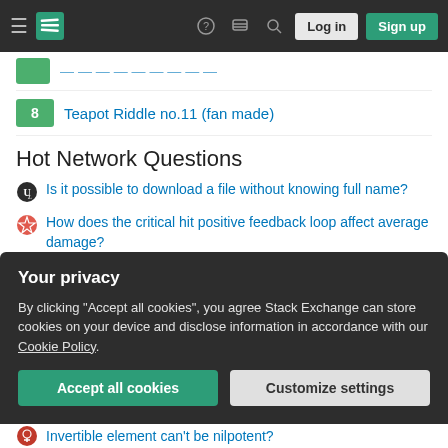Stack Exchange navigation bar with Log in and Sign up buttons
8 — Teapot Riddle no.11 (fan made)
Hot Network Questions
Is it possible to download a file without knowing full name?
How does the critical hit positive feedback loop affect average damage?
Why are the zero stretch and shrink in the definition of \z@skip explicit?
How do daily push-ups (as in army bootcamp) lead to muscle growth
Are these good countries to use for travel history when applying to
Your privacy
By clicking "Accept all cookies", you agree Stack Exchange can store cookies on your device and disclose information in accordance with our Cookie Policy.
Accept all cookies    Customize settings
Invertible element can't be nilpotent?